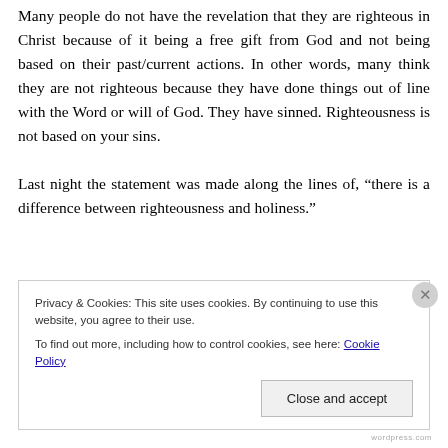Approval. The main topic has been on righteousness. Many people do not have the revelation that they are righteous in Christ because of it being a free gift from God and not being based on their past/current actions. In other words, many think they are not righteous because they have done things out of line with the Word or will of God. They have sinned. Righteousness is not based on your sins.

Last night the statement was made along the lines of, “there is a difference between righteousness and holiness.”
Privacy & Cookies: This site uses cookies. By continuing to use this website, you agree to their use.
To find out more, including how to control cookies, see here: Cookie Policy
Close and accept